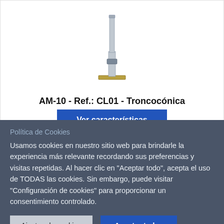[Figure (photo): Product photo of a metal truncated conical mast/pole (AM-10, Ref.: CL01, Troncocónica) — a tall thin galvanized steel pole with a square base plate and a clamping collar near the top]
AM-10 - Ref.: CL01 - Troncocónica
Ver características
Política de Cookies
Usamos cookies en nuestro sitio web para brindarle la experiencia más relevante recordando sus preferencias y visitas repetidas. Al hacer clic en "Aceptar todo", acepta el uso de TODAS las cookies. Sin embargo, puede visitar "Configuración de cookies" para proporcionar un consentimiento controlado.
Ajustes de cookies
Aceptar todas